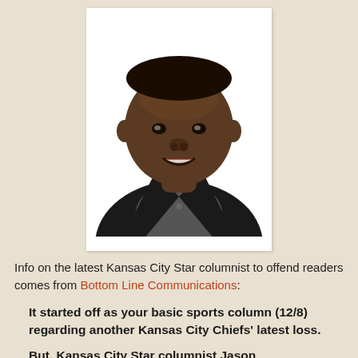[Figure (photo): Headshot portrait of a Black man in a dark suit and gray polo shirt, smiling, against a white background, displayed with a white photo-frame border.]
Info on the latest Kansas City Star columnist to offend readers comes from Bottom Line Communications:
It started off as your basic sports column (12/8) regarding another Kansas City Chiefs' latest loss.
But, Kansas City Star columnist Jason